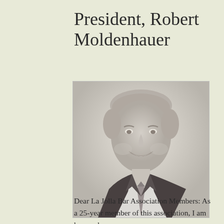President, Robert Moldenhauer
[Figure (photo): Black and white portrait photo of Robert Moldenhauer, a man in a dark suit and tie, smiling at the camera]
Dear La Jolla Bar Association Members: As a 25-year member of this association, I am honored